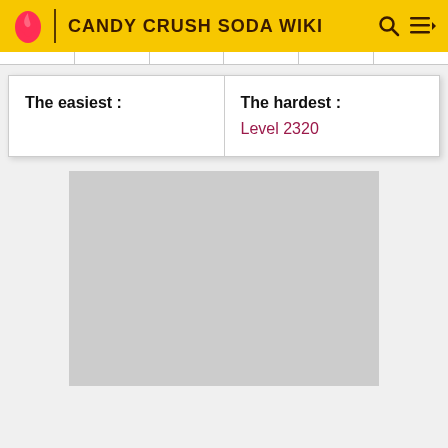CANDY CRUSH SODA WIKI
| The easiest : | The hardest : |
| --- | --- |
|  | Level 2320 |
[Figure (other): Gray placeholder image area]